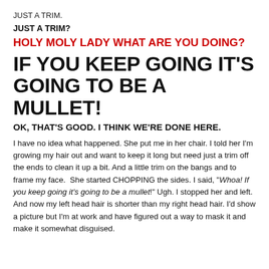JUST A TRIM.
JUST A TRIM?
HOLY MOLY LADY WHAT ARE YOU DOING?
IF YOU KEEP GOING IT'S GOING TO BE A MULLET!
OK, THAT'S GOOD. I THINK WE'RE DONE HERE.
I have no idea what happened. She put me in her chair. I told her I'm growing my hair out and want to keep it long but need just a trim off the ends to clean it up a bit. And a little trim on the bangs and to frame my face.  She started CHOPPING the sides. I said, "Whoa! If you keep going it's going to be a mullet!" Ugh. I stopped her and left. And now my left head hair is shorter than my right head hair. I'd show a picture but I'm at work and have figured out a way to mask it and make it somewhat disguised.